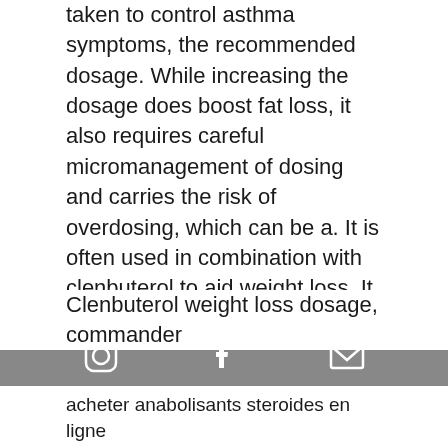taken to control asthma symptoms, the recommended dosage. While increasing the dosage does boost fat loss, it also requires careful micromanagement of dosing and carries the risk of overdosing, which can be a. It is often used in combination with clenbuterol to aid weight loss. It quickly became a widely used substance for body shaping and fat reduction. The typical dose for weight loss is 120-160 mcg per day. When athletes use clenbuterol to burn fat, they usually start at a low dose of 40 mcg and gradually. By the end of my cut (5-7% body fat usually) my dosage typically ends up being 80-100mcg. I have never exceeded 120mcg and i never will (and. Day 1: 20 mcg · day 2: 40 mcg · day 3: 60 mcg · day 4: 80 mcg · day 5:100
Clenbuterol weight loss dosage, commander acheter anabolisants steroides en ligne
[Figure (infographic): Footer bar with social media icons: Instagram, Facebook, and Email (envelope)]